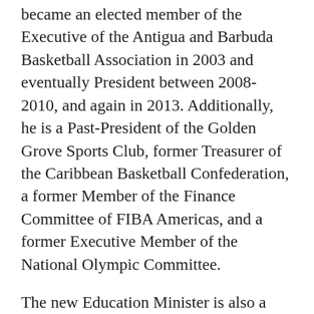became an elected member of the Executive of the Antigua and Barbuda Basketball Association in 2003 and eventually President between 2008-2010, and again in 2013. Additionally, he is a Past-President of the Golden Grove Sports Club, former Treasurer of the Caribbean Basketball Confederation, a former Member of the Finance Committee of FIBA Americas, and a former Executive Member of the National Olympic Committee.
The new Education Minister is also a former Director of MYST Carnival, a former Director of Trinity Academy, a secondary school in Antigua and Barbuda, and a former Director of the